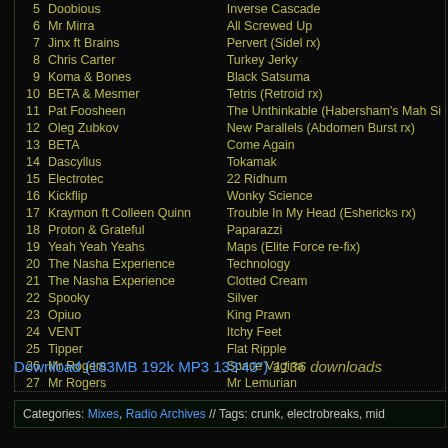| # | Artist | Track |
| --- | --- | --- |
| 5 | Doobious | Inverse Cascade |
| 6 | Mr Mirra | All Screwed Up |
| 7 | Jinx ft Brains | Pervert (Sidel rx) |
| 8 | Chris Carter | Turkey Jerky |
| 9 | Koma & Bones | Black Satsuma |
| 10 | BETA & Mesmer | Tetris (Retroid rx) |
| 11 | Pat Foosheen | The Unthinkable (Habersham's Mah Si |
| 12 | Oleg Zubkov | New Parallels (Abdomen Burst rx) |
| 13 | BETA | Come Again |
| 14 | Dascyllus | Tokamak |
| 15 | Electrotec | 22 Ridhum |
| 16 | Kickflip | Wonky Science |
| 17 | Kraymon ft Colleen Quinn | Trouble In My Head (Eshericks rx) |
| 18 | Proton & Grateful | Paparazzi |
| 19 | Yeah Yeah Yeahs | Maps (Elite Force re-fix) |
| 20 | The Nasha Experience | Technology |
| 21 | The Nasha Experience | Clotted Cream |
| 22 | Spooky | Silver |
| 23 | Opiuo | King Prawn |
| 24 | VENT | Itchy Feet |
| 25 | Tipper | Flat Ripple |
| 26 | Mr Rogers | Space Vagina |
| 27 | Mr Rogers | Mr Lemurian |
Download (183MB 192k MP3 133'43") 1136 downloads
Categories: Mixes, Radio Archives // Tags: crunk, electrobreaks, mid